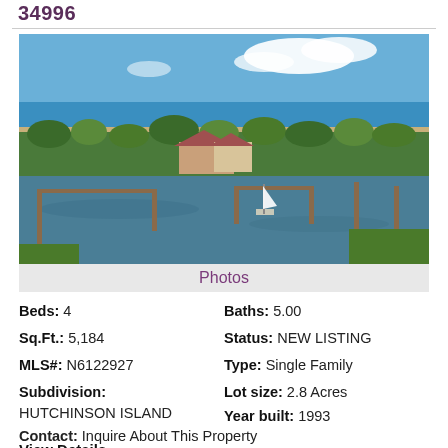34996
[Figure (photo): Aerial photo of a waterfront property on Hutchinson Island showing a house surrounded by trees, docks extending into a calm bay/intracoastal waterway, with the Atlantic Ocean and blue sky in the background.]
Photos
Beds: 4
Baths: 5.00
Sq.Ft.: 5,184
Status: NEW LISTING
MLS#: N6122927
Type: Single Family
Subdivision: HUTCHINSON ISLAND
Lot size: 2.8 Acres
Year built: 1993
View Details
Contact: Inquire About This Property